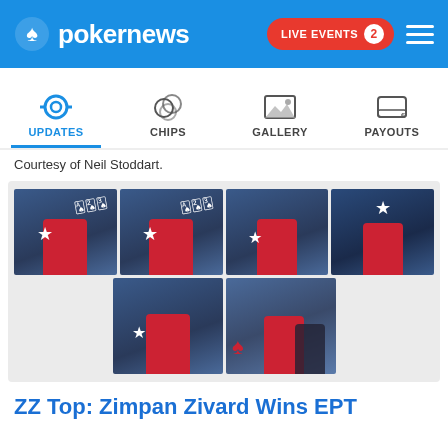pokernews — LIVE EVENTS 2
UPDATES | CHIPS | GALLERY | PAYOUTS
Courtesy of Neil Stoddart.
[Figure (photo): Six-photo collage of a poker tournament winner in a red hoodie posing with cards and chips at the PokerStars EPT final table, plus a photo of the award ceremony]
ZZ Top: Zimpan Zivard Wins EPT